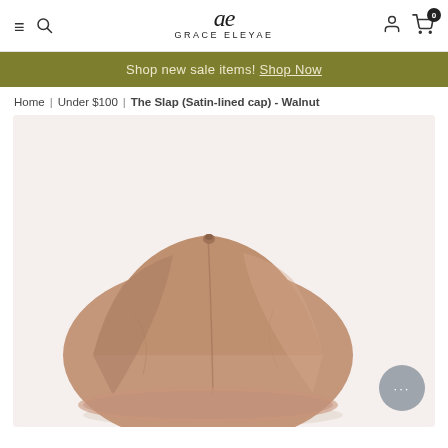GRACE ELEYAE — Navigation header with menu, search, user, and cart icons
Shop new sale items! Shop Now
Home | Under $100 | The Slap (Satin-lined cap) - Walnut
[Figure (photo): Product photo of a walnut/beige satin-lined cap (The Slap) photographed on a light background, showing top view of the cap with soft fabric texture.]